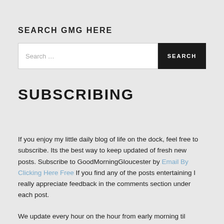SEARCH GMG HERE
[Figure (screenshot): Search bar with text input field placeholder 'Search ...' and dark SEARCH button]
SUBSCRIBING
If you enjoy my little daily blog of life on the dock, feel free to subscribe. Its the best way to keep updated of fresh new posts. Subscribe to GoodMorningGloucester by Email By Clicking Here Free If you find any of the posts entertaining I really appreciate feedback in the comments section under each post.
We update every hour on the hour from early morning til